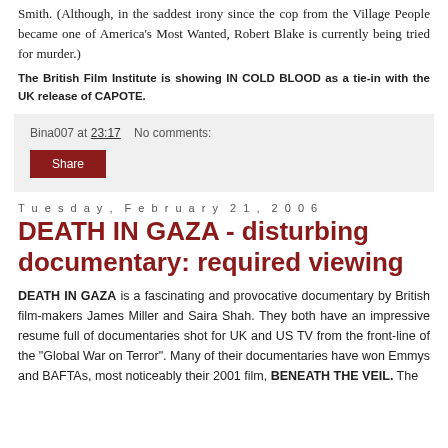Smith. (Although, in the saddest irony since the cop from the Village People became one of America's Most Wanted, Robert Blake is currently being tried for murder.)
The British Film Institute is showing IN COLD BLOOD as a tie-in with the UK release of CAPOTE.
Bina007 at 23:17   No comments:
Share
Tuesday, February 21, 2006
DEATH IN GAZA - disturbing documentary: required viewing
DEATH IN GAZA is a fascinating and provocative documentary by British film-makers James Miller and Saira Shah. They both have an impressive resume full of documentaries shot for UK and US TV from the front-line of the "Global War on Terror". Many of their documentaries have won Emmys and BAFTAs, most noticeably their 2001 film, BENEATH THE VEIL. The